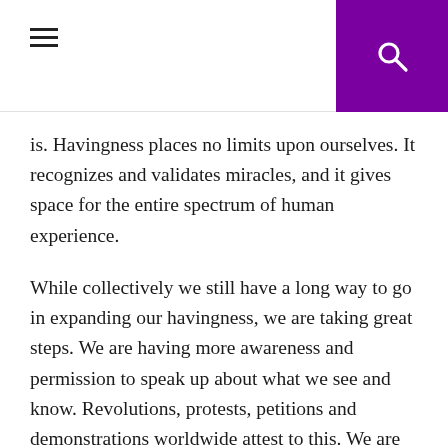[hamburger menu icon] [search icon]
is. Havingness places no limits upon ourselves. It recognizes and validates miracles, and it gives space for the entire spectrum of human experience.
While collectively we still have a long way to go in expanding our havingness, we are taking great steps. We are having more awareness and permission to speak up about what we see and know. Revolutions, protests, petitions and demonstrations worldwide attest to this. We are having more willingness to question old ways of doing and being while creating new systems and modes of relating economically, politically and socially. Grassroots community organizations promoting sustainability,